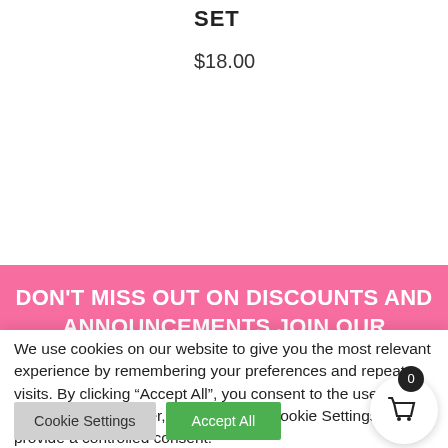SET
$18.00
$3.00  $2.00
DON'T MISS OUT ON DISCOUNTS AND ANNOUNCEMENTS JOIN OUR NEWSLETTER!
SIGN UP NOW
We use cookies on our website to give you the most relevant experience by remembering your preferences and repeat visits. By clicking "Accept All", you consent to the use of ALL the cookies. However, you may visit "Cookie Settings" to provide a controlled consent.
Cookie Settings
Accept All
0